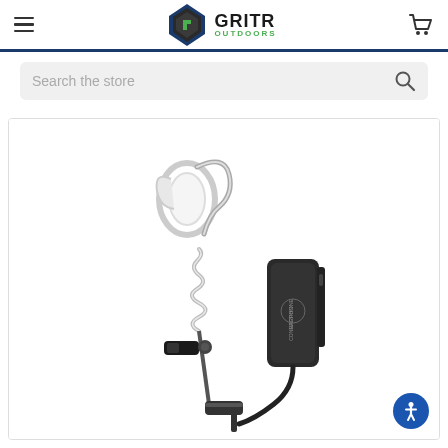GriTR Outdoors
Search the store
[Figure (photo): Product photo of an earphone/acoustic tube radio earpiece with coiled wire and in-line PTT microphone module labeled 'Earphone Connection', with a clear ear hook, shown on white background.]